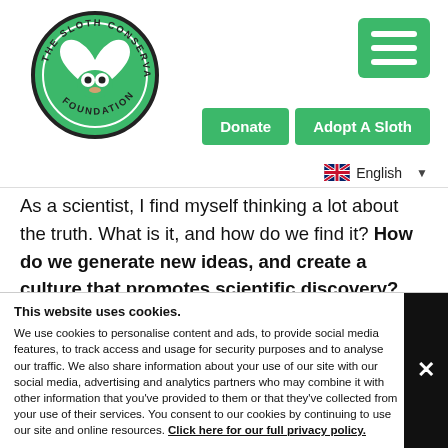[Figure (logo): The Sloth Conservation Foundation circular logo with green background and sloth heart design]
[Figure (other): Green hamburger menu button with three white horizontal bars]
Donate
Adopt A Sloth
English
As a scientist, I find myself thinking a lot about the truth. What is it, and how do we find it? How do we generate new ideas, and create a culture that promotes scientific discovery? Science is a process that concerns itself greatly with what is repeatable and relevant; what is true. We are human. The truth is our sex, sexuality, and gender exist along a spectrum, and we are as diverse in our internal identities as external ones. A culture that values ...heap the benefits of the people wh...
This website uses cookies.
We use cookies to personalise content and ads, to provide social media features, to track access and usage for security purposes and to analyse our traffic. We also share information about your use of our site with our social media, advertising and analytics partners who may combine it with other information that you've provided to them or that they've collected from your use of their services. You consent to our cookies by continuing to use our site and online resources. Click here for our full privacy policy.